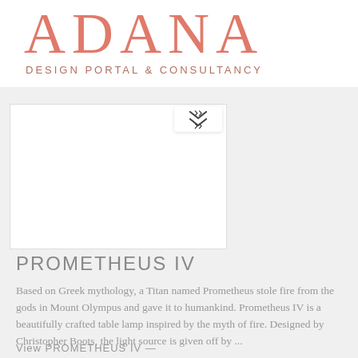ADANA
DESIGN PORTAL & CONSULTANCY
[Figure (other): Empty white rectangular image placeholder with a chevron/double-arrow button overlay at the top center]
PROMETHEUS IV
Based on Greek mythology, a Titan named Prometheus stole fire from the gods in Mount Olympus and gave it to humankind. Prometheus IV is a beautifully crafted table lamp inspired by the myth of fire. Designed by Christopher Boots, the light source is given off by ...
View PROMETHEUS IV —